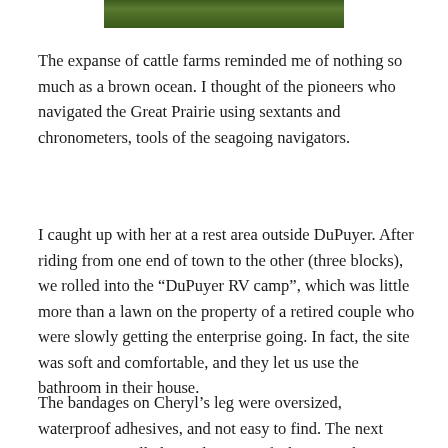[Figure (photo): A narrow horizontal strip showing green grass or vegetation, appearing to be a cropped photo at the top of the page.]
The expanse of cattle farms reminded me of nothing so much as a brown ocean. I thought of the pioneers who navigated the Great Prairie using sextants and chronometers, tools of the seagoing navigators.
I caught up with her at a rest area outside DuPuyer. After riding from one end of town to the other (three blocks), we rolled into the “DuPuyer RV camp”, which was little more than a lawn on the property of a retired couple who were slowly getting the enterprise going. In fact, the site was soft and comfortable, and they let us use the bathroom in their house.
The bandages on Cheryl’s leg were oversized, waterproof adhesives, and not easy to find. The next morning, we rolled into the town of Choteau, where we had stopped for